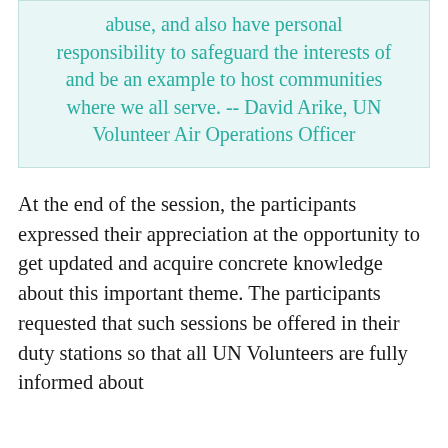abuse, and also have personal responsibility to safeguard the interests of and be an example to host communities where we all serve. -- David Arike, UN Volunteer Air Operations Officer
At the end of the session, the participants expressed their appreciation at the opportunity to get updated and acquire concrete knowledge about this important theme. The participants requested that such sessions be offered in their duty stations so that all UN Volunteers are fully informed about